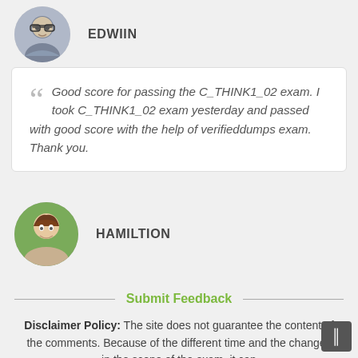[Figure (photo): Circular avatar photo of a person with glasses, male, brown hair]
EDWIIN
Good score for passing the C_THINK1_02 exam. I took C_THINK1_02 exam yesterday and passed with good score with the help of verifieddumps exam. Thank you.
[Figure (photo): Circular avatar photo of a smiling woman with brown hair outdoors]
HAMILTION
Submit Feedback
Disclaimer Policy: The site does not guarantee the content of the comments. Because of the different time and the changes in the scope of the exam, it can